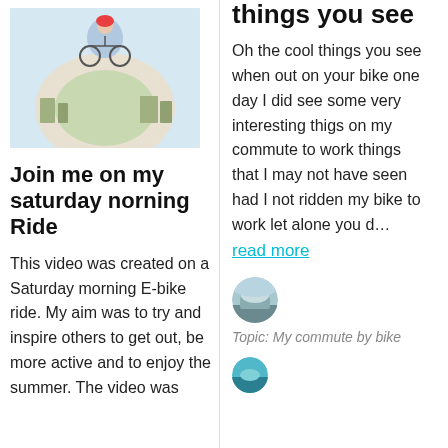[Figure (photo): Circular fisheye-style photo of a cyclist, shown at the top of the left article card]
Join me on my saturday norning Ride
This video was created on a Saturday morning E-bike ride. My aim was to try and inspire others to get out, be more active and to enjoy the summer. The video was
things you see
Oh the cool things you see when out on your bike one day I did see some very interesting thigs on my commute to work things that I may not have seen had I not ridden my bike to work let alone you d…
read more
[Figure (photo): Small circular avatar photo of a commuter bike scene]
Topic: My commute by bike
[Figure (photo): Small circular avatar photo at the bottom right, partially visible]